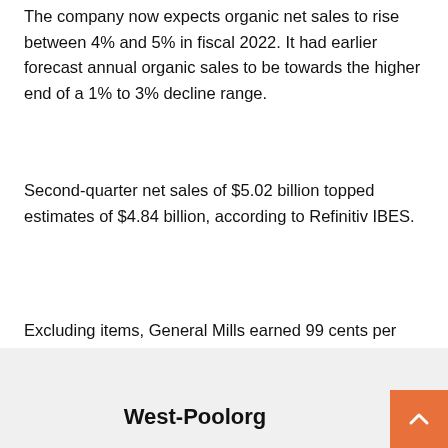The company now expects organic net sales to rise between 4% and 5% in fiscal 2022. It had earlier forecast annual organic sales to be towards the higher end of a 1% to 3% decline range.
Second-quarter net sales of $5.02 billion topped estimates of $4.84 billion, according to Refinitiv IBES.
Excluding items, General Mills earned 99 cents per share in the three months ended Nov. 28, missing analysts' estimate of $1.05 per share.
West-Poolorg